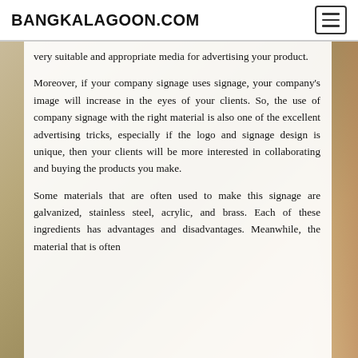BANGKALAGOON.COM
very suitable and appropriate media for advertising your product.
Moreover, if your company signage uses signage, your company's image will increase in the eyes of your clients. So, the use of company signage with the right material is also one of the excellent advertising tricks, especially if the logo and signage design is unique, then your clients will be more interested in collaborating and buying the products you make.
Some materials that are often used to make this signage are galvanized, stainless steel, acrylic, and brass. Each of these ingredients has advantages and disadvantages. Meanwhile, the material that is often